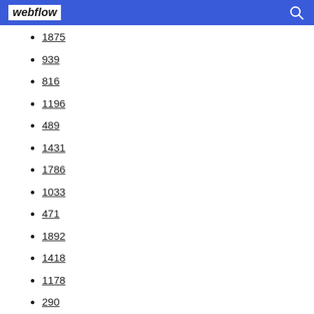webflow
1875
939
816
1196
489
1431
1786
1033
471
1892
1418
1178
290